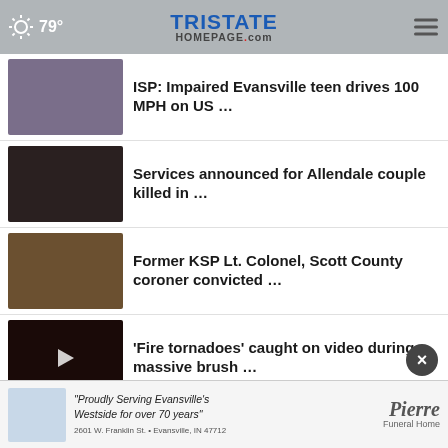79° | TristateHomepage.com
ISP: Impaired Evansville teen drives 100 MPH on US …
Services announced for Allendale couple killed in …
Former KSP Lt. Colonel, Scott County coroner convicted …
'Fire tornadoes' caught on video during massive brush …
Man charged with murder, attempted murder in shooting …
Stonegate Beautiful Forecast
[Figure (screenshot): Advertisement for Pierre Funeral Home: 'Proudly Serving Evansville's Westside for over 70 years' — 2601 W. Franklin St. • Evansville, IN 47712]